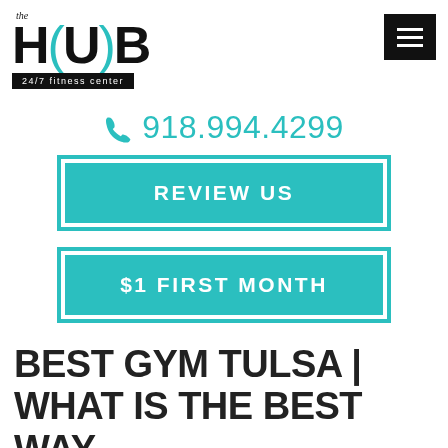[Figure (logo): The HUB 24/7 fitness center logo with teal brackets around 'U' and a black banner subtitle]
918.994.4299
REVIEW US
$1 FIRST MONTH
BEST GYM TULSA | WHAT IS THE BEST WAY